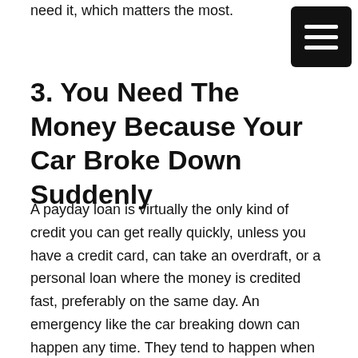need it, which matters the most.
[Figure (other): Hamburger menu button — black rounded rectangle with three white horizontal bars]
3. You Need The Money Because Your Car Broke Down Suddenly
A payday loan is virtually the only kind of credit you can get really quickly, unless you have a credit card, can take an overdraft, or a personal loan where the money is credited fast, preferably on the same day. An emergency like the car breaking down can happen any time. They tend to happen when you least expect. You need to carry out immediate repairs because otherwise you cannot get to work.